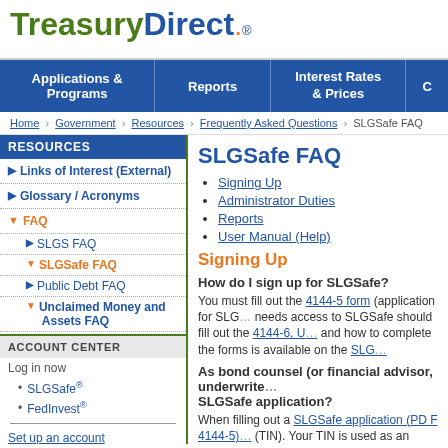[Figure (logo): TreasuryDirect logo with green Treasury, blue Direct, orange dot, registered trademark]
Applications & Programs | Reports | Interest Rates & Prices
Home › Government › Resources › Frequently Asked Questions › SLGSafe FAQ
RESOURCES
Links of Interest (External)
Glossary / Acronyms
FAQ
SLGS FAQ
SLGSafe FAQ
Public Debt FAQ
Unclaimed Money and Assets FAQ
ACCOUNT CENTER
Log in now
SLGSafe®
FedInvest®
Set up an account
SLGSafe FAQ
Signing Up
Administrator Duties
Reports
User Manual (Help)
Signing Up
How do I sign up for SLGSafe?
You must fill out the 4144-5 form (application for SLG... needs access to SLGSafe should fill out the 4144-6, U... and how to complete the forms is available on the SLG...
As bond counsel (or financial advisor, underwrite... SLGSafe application?
When filling out a SLGSafe application (PD F 4144-5)... (TIN). Your TIN is used as an identifier in our system t... on any issues, unless you enter the information during...